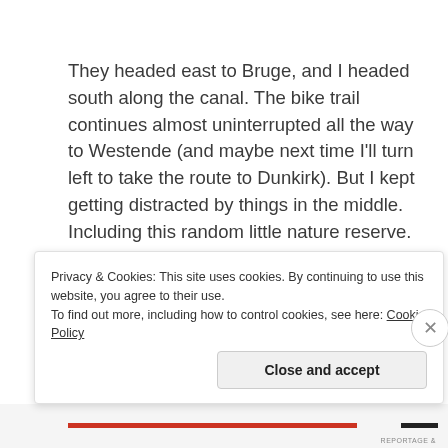They headed east to Bruge, and I headed south along the canal. The bike trail continues almost uninterrupted all the way to Westende (and maybe next time I'll turn left to take the route to Dunkirk). But I kept getting distracted by things in the middle. Including this random little nature reserve.
[Figure (photo): Partially visible photo area with light grey/blue background, mostly cropped out of view]
Privacy & Cookies: This site uses cookies. By continuing to use this website, you agree to their use.
To find out more, including how to control cookies, see here: Cookie Policy
Close and accept